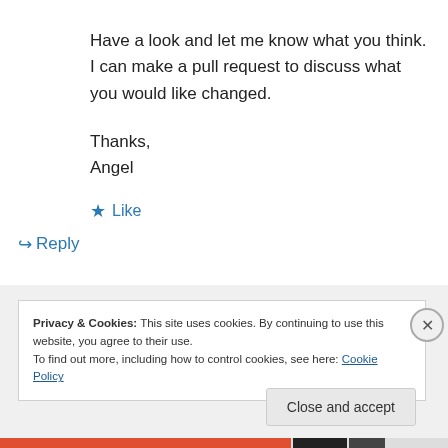Have a look and let me know what you think. I can make a pull request to discuss what you would like changed.
Thanks,
Angel
★ Like
↪ Reply
Privacy & Cookies: This site uses cookies. By continuing to use this website, you agree to their use.
To find out more, including how to control cookies, see here: Cookie Policy
Close and accept